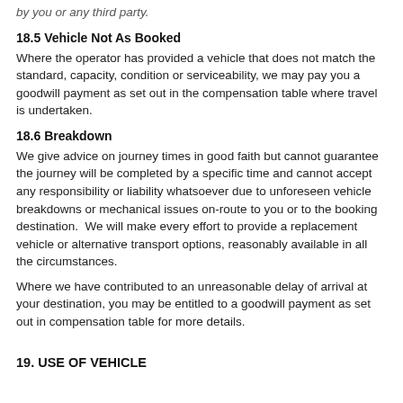by you or any third party.
18.5 Vehicle Not As Booked
Where the operator has provided a vehicle that does not match the standard, capacity, condition or serviceability, we may pay you a goodwill payment as set out in the compensation table where travel is undertaken.
18.6 Breakdown
We give advice on journey times in good faith but cannot guarantee the journey will be completed by a specific time and cannot accept any responsibility or liability whatsoever due to unforeseen vehicle breakdowns or mechanical issues on-route to you or to the booking destination.  We will make every effort to provide a replacement vehicle or alternative transport options, reasonably available in all the circumstances.
Where we have contributed to an unreasonable delay of arrival at your destination, you may be entitled to a goodwill payment as set out in compensation table for more details.
19. USE OF VEHICLE